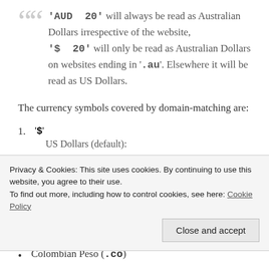'AUD 20' will always be read as Australian Dollars irrespective of the website, '$ 20' will only be read as Australian Dollars on websites ending in '.au'. Elsewhere it will be read as US Dollars.
The currency symbols covered by domain-matching are:
1. '$'
US Dollars (default):
Privacy & Cookies: This site uses cookies. By continuing to use this website, you agree to their use. To find out more, including how to control cookies, see here: Cookie Policy
Colombian Peso (.co)